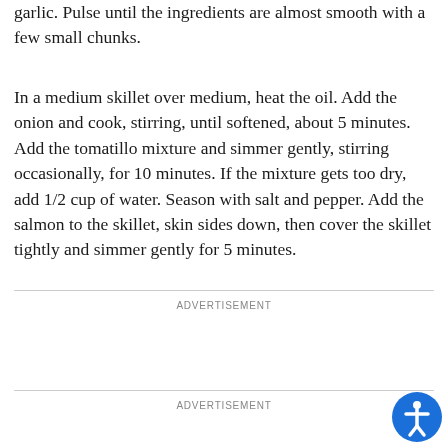garlic. Pulse until the ingredients are almost smooth with a few small chunks.
In a medium skillet over medium, heat the oil. Add the onion and cook, stirring, until softened, about 5 minutes. Add the tomatillo mixture and simmer gently, stirring occasionally, for 10 minutes. If the mixture gets too dry, add 1/2 cup of water. Season with salt and pepper. Add the salmon to the skillet, skin sides down, then cover the skillet tightly and simmer gently for 5 minutes.
ADVERTISEMENT
ADVERTISEMENT